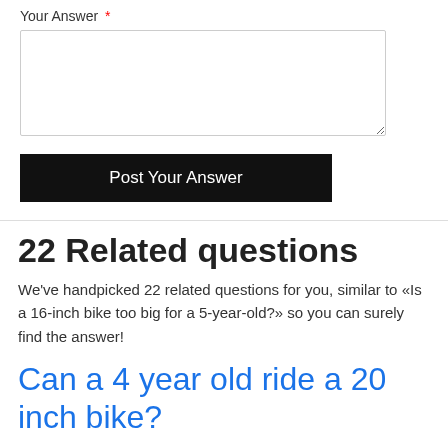Your Answer *
Post Your Answer
22 Related questions
We've handpicked 22 related questions for you, similar to «Is a 16-inch bike too big for a 5-year-old?» so you can surely find the answer!
Can a 4 year old ride a 20 inch bike?